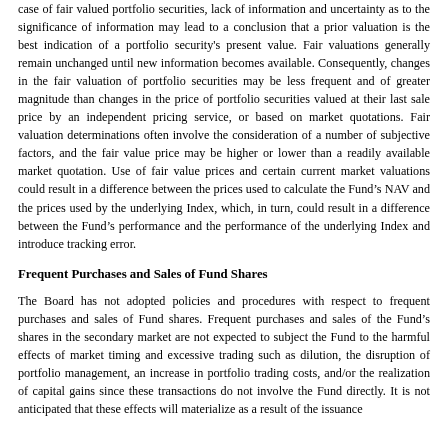case of fair valued portfolio securities, lack of information and uncertainty as to the significance of information may lead to a conclusion that a prior valuation is the best indication of a portfolio security's present value. Fair valuations generally remain unchanged until new information becomes available. Consequently, changes in the fair valuation of portfolio securities may be less frequent and of greater magnitude than changes in the price of portfolio securities valued at their last sale price by an independent pricing service, or based on market quotations. Fair valuation determinations often involve the consideration of a number of subjective factors, and the fair value price may be higher or lower than a readily available market quotation. Use of fair value prices and certain current market valuations could result in a difference between the prices used to calculate the Fund's NAV and the prices used by the underlying Index, which, in turn, could result in a difference between the Fund's performance and the performance of the underlying Index and introduce tracking error.
Frequent Purchases and Sales of Fund Shares
The Board has not adopted policies and procedures with respect to frequent purchases and sales of Fund shares. Frequent purchases and sales of the Fund's shares in the secondary market are not expected to subject the Fund to the harmful effects of market timing and excessive trading such as dilution, the disruption of portfolio management, an increase in portfolio trading costs, and/or the realization of capital gains since these transactions do not involve the Fund directly. It is not anticipated that these effects will materialize as a result of the issuance